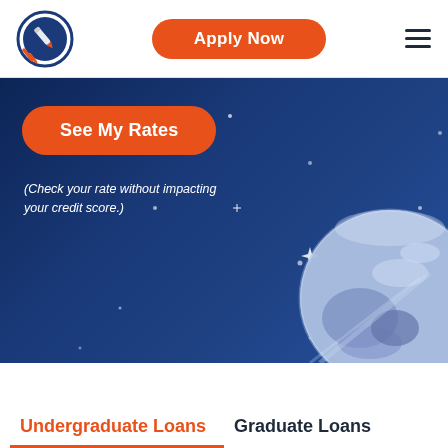Apply Now
[Figure (screenshot): Website screenshot showing a student loan provider page with a dark blue space-themed hero banner featuring a planet illustration, a 'See My Rates' orange button, and credit score disclaimer text, with 'Undergraduate Loans' and 'Graduate Loans' tabs at the bottom.]
(Check your rate without impacting your credit score.)
Undergraduate Loans
Graduate Loans